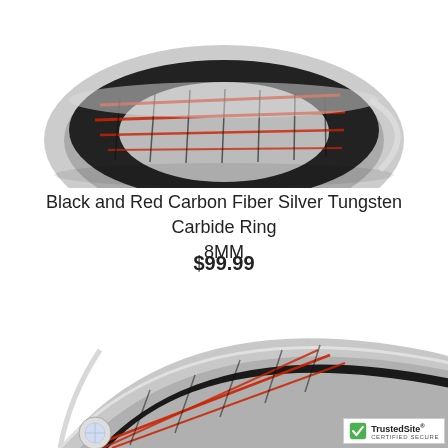[Figure (photo): Close-up photo of a silver tungsten carbide ring with black and red carbon fiber inlay, shown from an angle against a white background.]
Black and Red Carbon Fiber Silver Tungsten Carbide Ring 8MM
$99.99
[Figure (photo): Partial close-up photo of a second silver tungsten carbide ring with black and red carbon fiber inlay and a diamond accent, shown from below against a white background.]
[Figure (logo): TrustedSite Certified Secure badge in bottom-right corner.]